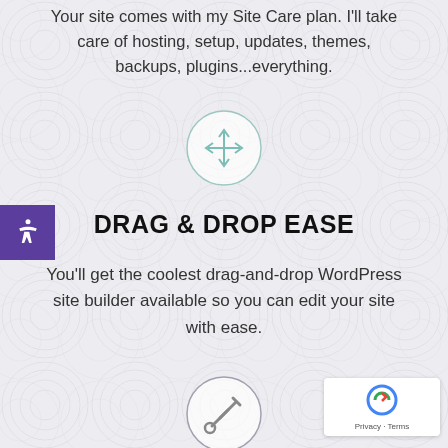Your site comes with my Site Care plan. I'll take care of hosting, setup, updates, themes, backups, plugins...everything.
[Figure (illustration): Circle icon with a four-directional move/drag arrow symbol in teal/mint color]
DRAG & DROP EASE
You'll get the coolest drag-and-drop WordPress site builder available so you can edit your site with ease.
[Figure (illustration): Circle icon with a wrench and screwdriver/tools symbol in teal/mint color]
[Figure (logo): Google reCAPTCHA badge with logo and Privacy/Terms links]